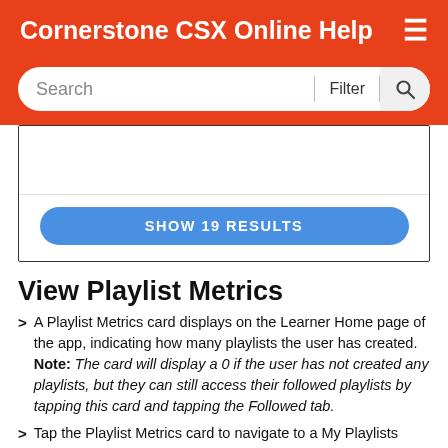Cornerstone CSX Online Help
[Figure (screenshot): Search bar with Filter button and search icon, and a filter panel showing a 'SHOW 19 RESULTS' blue button]
View Playlist Metrics
A Playlist Metrics card displays on the Learner Home page of the app, indicating how many playlists the user has created. Note: The card will display a 0 if the user has not created any playlists, but they can still access their followed playlists by tapping this card and tapping the Followed tab.
Tap the Playlist Metrics card to navigate to a My Playlists page, which is separated into two tabs: Created and Followed. Any playlists the user has